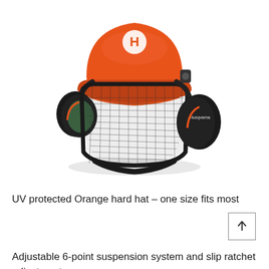[Figure (photo): Husqvarna orange hard hat safety helmet with integrated black mesh face shield visor and black ear muff hearing protectors on both sides. The helmet is orange with the Husqvarna logo on the front. The ear muffs are black with an orange accent stripe.]
UV protected Orange hard hat – one size fits most
Adjustable 6-point suspension system and slip ratchet adjustment